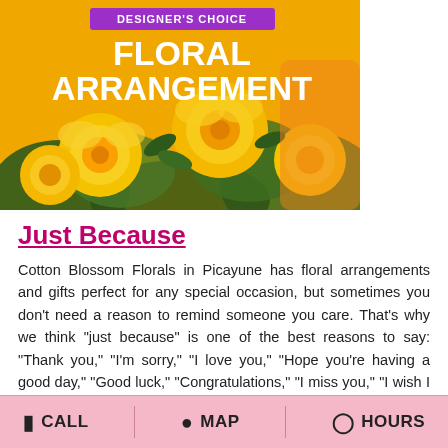[Figure (photo): Designer's Choice Floral Arrangement promotional image with yellow roses and green foliage. Purple banner reads DESIGNER'S CHOICE. White bold text reads FLORAL ARRANGEMENT.]
Just Because
Cotton Blossom Florals in Picayune has floral arrangements and gifts perfect for any special occasion, but sometimes you don't need a reason to remind someone you care. That's why we think "just because" is one of the best reasons to say: "Thank you," "I'm sorry," "I love you," "Hope you're having a good day," "Good luck," "Congratulations," "I miss you," "I wish I could be there," or "Forgive me." Browse our selection and order online or call us to place an order "just because!"
CALL   MAP   HOURS